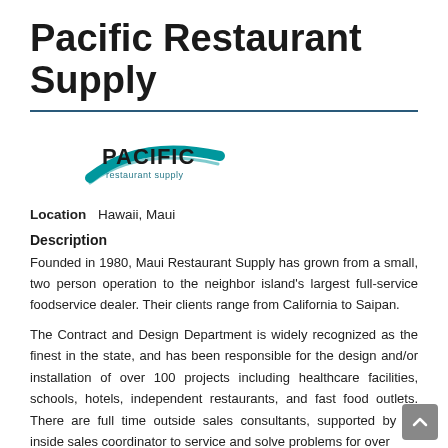Pacific Restaurant Supply
[Figure (logo): Pacific Restaurant Supply logo — teal swoosh arc around bold 'PACIFIC' text with 'restaurant supply' tagline below]
Location   Hawaii, Maui
Description
Founded in 1980, Maui Restaurant Supply has grown from a small, two person operation to the neighbor island's largest full-service foodservice dealer. Their clients range from California to Saipan.
The Contract and Design Department is widely recognized as the finest in the state, and has been responsible for the design and/or installation of over 100 projects including healthcare facilities, schools, hotels, independent restaurants, and fast food outlets. There are full time outside sales consultants, supported by an inside sales coordinator to service and solve problems for over